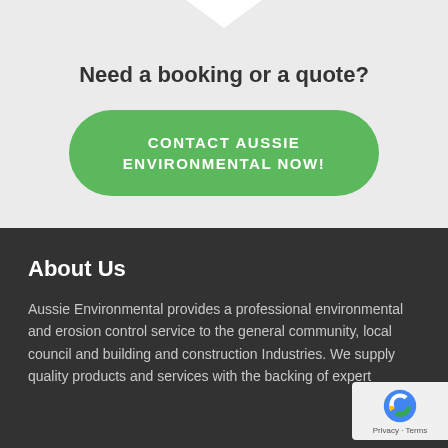Need a booking or a quote?
CONTACT AUSSIE ENVIRONMENTAL NOW!
About Us
Aussie Environmental provides a professional environmental and erosion control service to the general community, local council and building and construction Industries. We supply quality products and services with the backing of expert